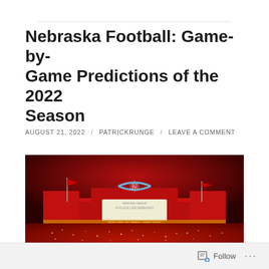Nebraska Football: Game-by-Game Predictions of the 2022 Season
AUGUST 21, 2022 / PATRICKRUNGE / LEAVE A COMMENT
[Figure (photo): Memorial Stadium exterior lit up in red at night with 'N' logo and crowd of fans dressed in red in the foreground]
Follow ...